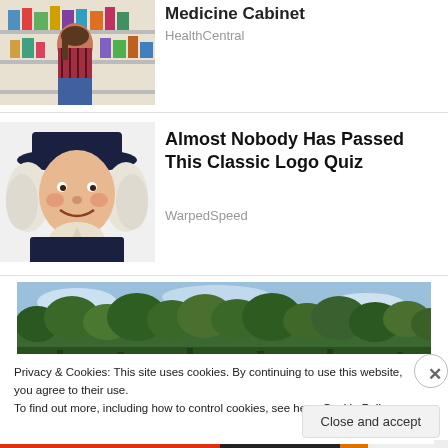[Figure (photo): Woman crouching in pharmacy aisle looking at products on shelf]
Medicine Cabinet
HealthCentral
[Figure (illustration): Quaker Oats man mascot — smiling colonial-era man with white wig and dark hat]
Almost Nobody Has Passed This Classic Logo Quiz
WarpedSpeed
[Figure (photo): Outdoor scene with green trees against a blue sky]
Privacy & Cookies: This site uses cookies. By continuing to use this website, you agree to their use.
To find out more, including how to control cookies, see here: Cookie Policy
Close and accept